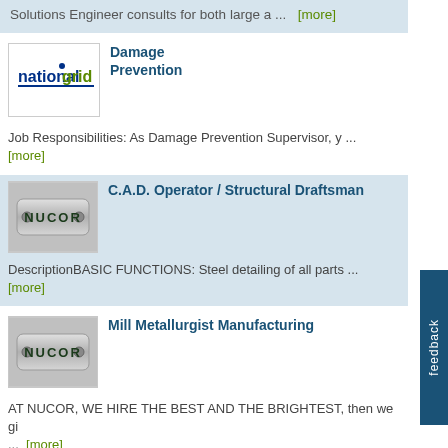Solutions Engineer consults for both large a ... [more]
[Figure (logo): National Grid company logo]
Damage Prevention
Job Responsibilities: As Damage Prevention Supervisor, y ... [more]
[Figure (logo): Nucor company logo]
C.A.D. Operator / Structural Draftsman
DescriptionBASIC FUNCTIONS: Steel detailing of all parts ... [more]
[Figure (logo): Nucor company logo]
Mill Metallurgist Manufacturing
AT NUCOR, WE HIRE THE BEST AND THE BRIGHTEST, then we gi ... [more]
Expand